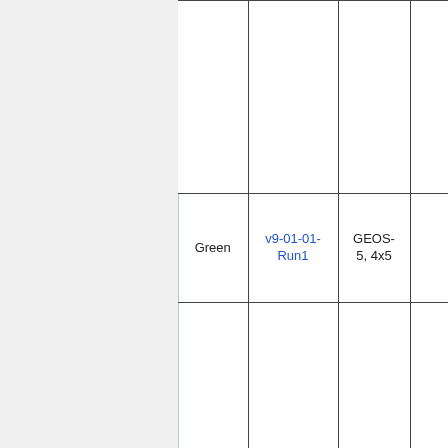| Color | Run ID | Model | Notes |
| --- | --- | --- | --- |
|  |  |  | + Bug fix for shipping emissions |
| Green | v9-01-01-Run1 | GEOS-5, 4x5 | " " |
| Blue | v9-01-02-Run0 | GEOS-5, 4x5 | + Fix for GEIA emissions scaling factor + Imposed seasonality on Streets 2000 NH emissions + Bug fix |